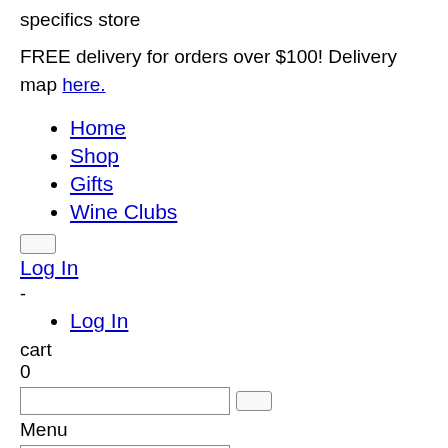specifics store
FREE delivery for orders over $100! Delivery map here.
Home
Shop
Gifts
Wine Clubs
Log In
-
Log In
cart
0
Menu
Home